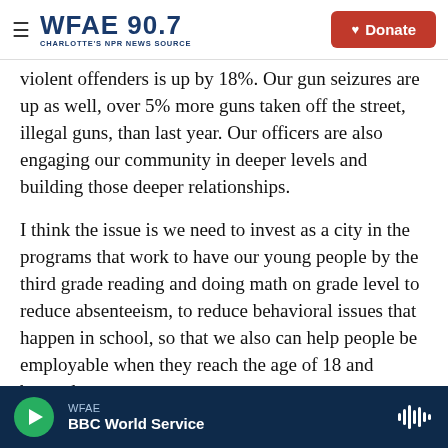WFAE 90.7 — CHARLOTTE'S NPR NEWS SOURCE | Donate
violent offenders is up by 18%. Our gun seizures are up as well, over 5% more guns taken off the street, illegal guns, than last year. Our officers are also engaging our community in deeper levels and building those deeper relationships.
I think the issue is we need to invest as a city in the programs that work to have our young people by the third grade reading and doing math on grade level to reduce absenteeism, to reduce behavioral issues that happen in school, so that we also can help people be employable when they reach the age of 18 and beyond.
WFAE | BBC World Service